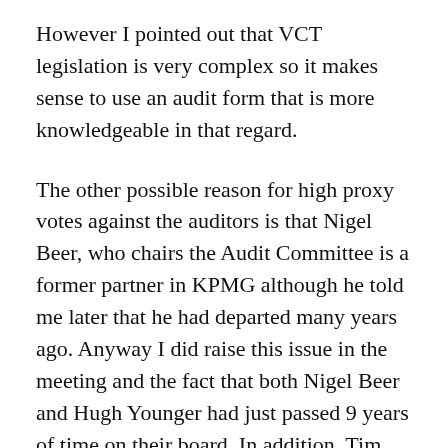However I pointed out that VCT legislation is very complex so it makes sense to use an audit form that is more knowledgeable in that regard.
The other possible reason for high proxy votes against the auditors is that Nigel Beer, who chairs the Audit Committee is a former partner in KPMG although he told me later that he had departed many years ago. Anyway I did raise this issue in the meeting and the fact that both Nigel Beer and Hugh Younger had just passed 9 years of time on their board. In addition, Tim Levett, who is Chairman of NVM, the fund manager, is on the board. So according to the UK Corporate Governance Code that's three